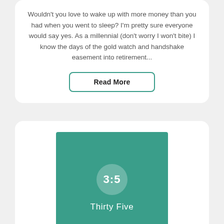Wouldn't you love to wake up with more money than you had when you went to sleep? I'm pretty sure everyone would say yes. As a millennial (don't worry I won't bite) I know the days of the gold watch and handshake easement into retirement...
Read More
[Figure (logo): Teal square logo with white circle containing '3:5' text and 'Thirty Five' brand name below]